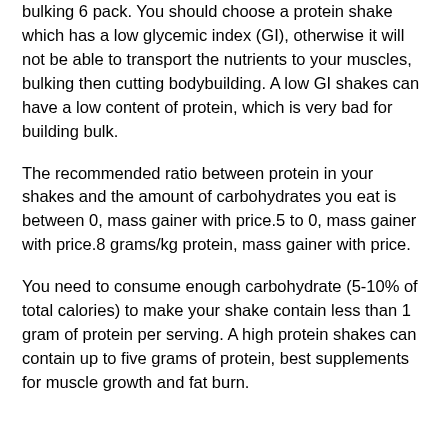bulking 6 pack. You should choose a protein shake which has a low glycemic index (GI), otherwise it will not be able to transport the nutrients to your muscles, bulking then cutting bodybuilding. A low GI shakes can have a low content of protein, which is very bad for building bulk.
The recommended ratio between protein in your shakes and the amount of carbohydrates you eat is between 0, mass gainer with price.5 to 0, mass gainer with price.8 grams/kg protein, mass gainer with price.
You need to consume enough carbohydrate (5-10% of total calories) to make your shake contain less than 1 gram of protein per serving. A high protein shakes can contain up to five grams of protein, best supplements for muscle growth and fat burn.